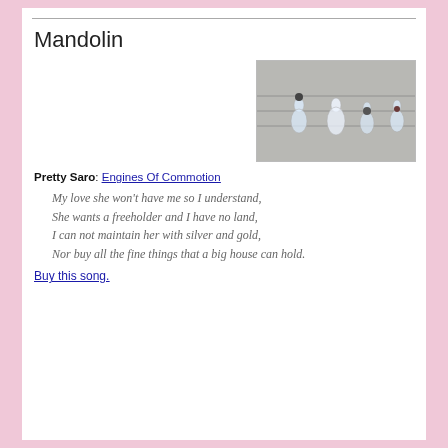Mandolin
[Figure (photo): Photo of crystal pendant ornaments hanging from strings against a grey textured background]
Pretty Saro: Engines Of Commotion
My love she won't have me so I understand,
She wants a freeholder and I have no land,
I can not maintain her with silver and gold,
Nor buy all the fine things that a big house can hold.
Buy this song.